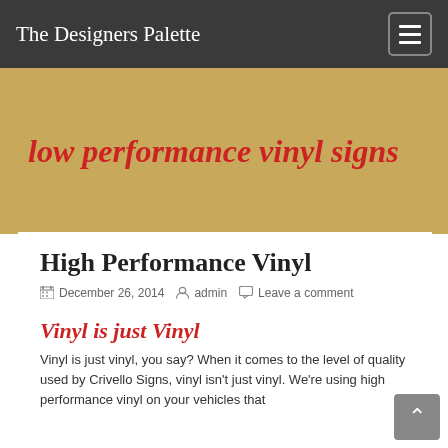The Designers Palette
low performance vinyl signs
High Performance Vinyl
December 26, 2014  admin  Leave a comment
Vinyl is just Vinyl
Vinyl is just vinyl, you say? When it comes to the level of quality used by Crivello Signs, vinyl isn't just vinyl. We're using high performance vinyl on your vehicles that